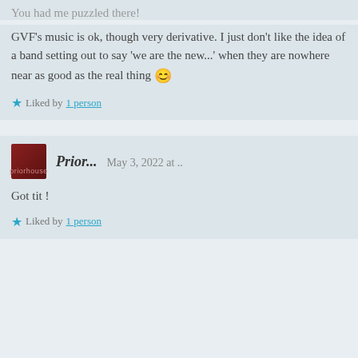You had me puzzled there!
GVF’s music is ok, though very derivative. I just don’t like the idea of a band setting out to say ‘we are the new...’ when they are nowhere near as good as the real thing 😊
Liked by 1 person
Prior... May 3, 2022 at ..
Got tit !
Liked by 1 person